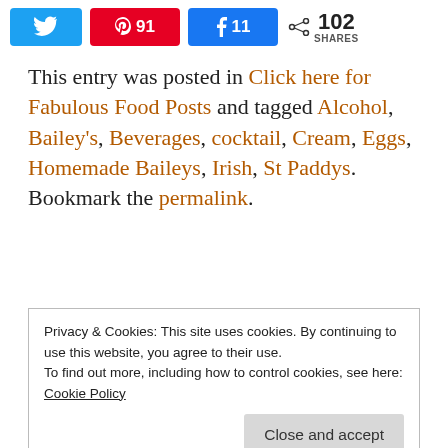[Figure (other): Social share bar with Twitter, Pinterest (91), Facebook (11) buttons and 102 SHARES count]
This entry was posted in Click here for Fabulous Food Posts and tagged Alcohol, Bailey's, Beverages, cocktail, Cream, Eggs, Homemade Baileys, Irish, St Paddys. Bookmark the permalink.
Privacy & Cookies: This site uses cookies. By continuing to use this website, you agree to their use.
To find out more, including how to control cookies, see here:
Cookie Policy
Close and accept
25 thoughts on